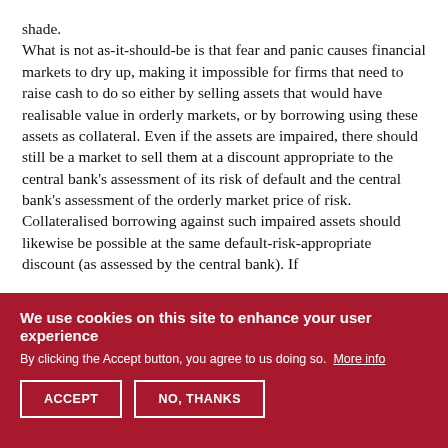shade.

What is not as-it-should-be is that fear and panic causes financial markets to dry up, making it impossible for firms that need to raise cash to do so either by selling assets that would have realisable value in orderly markets, or by borrowing using these assets as collateral. Even if the assets are impaired, there should still be a market to sell them at a discount appropriate to the central bank's assessment of its risk of default and the central bank's assessment of the orderly market price of risk. Collateralised borrowing against such impaired assets should likewise be possible at the same default-risk-appropriate discount (as assessed by the central bank). If
We use cookies on this site to enhance your user experience
By clicking the Accept button, you agree to us doing so. More info
ACCEPT
NO, THANKS